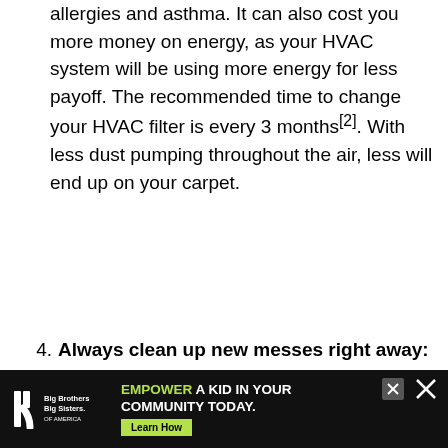allergies and asthma. It can also cost you more money on energy, as your HVAC system will be using more energy for less payoff. The recommended time to change your HVAC filter is every 3 months[2]. With less dust pumping throughout the air, less will end up on your carpet.
4. Always clean up new messes right away: Target spills before they become stains. As soon as messes appear on the carpet, use a spot cleaner right away to treat the area. Spray a spot cleaner on t...
[Figure (other): Advertisement banner: Big Brothers Big Sisters logo on black background with text 'EMPOWER A KID IN YOUR COMMUNITY TODAY.' and a green 'Learn How' button. A close (X) button is visible.]